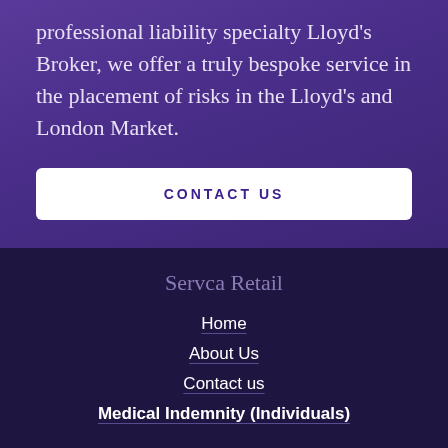professional liability specialty Lloyd's Broker, we offer a truly bespoke service in the placement of risks in the Lloyd's and London Market.
CONTACT US
Servca Retail
Home
About Us
Contact us
Medical Indemnity (Individuals)